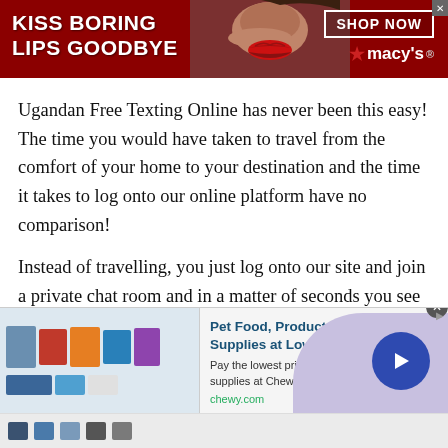[Figure (screenshot): Macy's banner advertisement with dark red background, text 'KISS BORING LIPS GOODBYE', a woman's face with red lips, 'SHOP NOW' button, and Macy's star logo]
Ugandan Free Texting Online has never been this easy! The time you would have taken to travel from the comfort of your home to your destination and the time it takes to log onto our online platform have no comparison!
Instead of travelling, you just log onto our site and join a private chat room and in a matter of seconds you see a stranger on your screen. Since, you don't have to leave your house, online Free Texting Online is undoubtedly much easier and more convenient compared to a face-to
[Figure (screenshot): Chewy.com advertisement: 'Pet Food, Products, Supplies at Low Prices - Pay the lowest prices on pet supplies at Chewy.com' with product images and a blue arrow button]